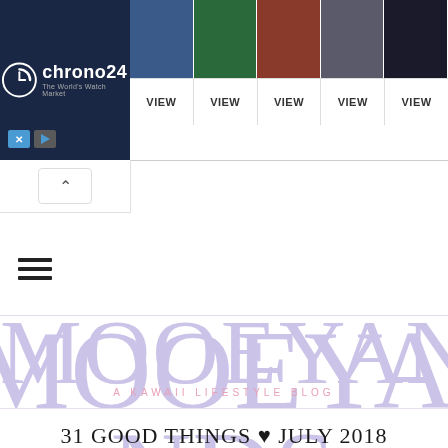[Figure (screenshot): Chrono24 advertisement banner with watch images and VIEW buttons]
[Figure (screenshot): Collapse/chevron up button]
[Figure (screenshot): Hamburger menu icon with three horizontal lines]
MOOEYANDFRIENDSENDS
A KAWAII LIFESTYLE BLOG
31 GOOD THINGS ♥ JULY 2018